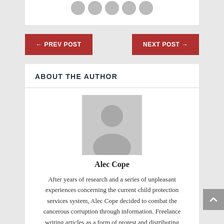[Figure (illustration): Top section of a white card showing five grey circular avatar placeholders in a row]
← PREV POST
NEXT POST →
ABOUT THE AUTHOR
[Figure (illustration): Default grey placeholder avatar silhouette showing head and shoulders of a person]
Alec Cope
After years of research and a series of unpleasant experiences concerning the current child protection services system, Alec Cope decided to combat the cancerous corruption through information. Freelance writing articles as a form of protest and distributing